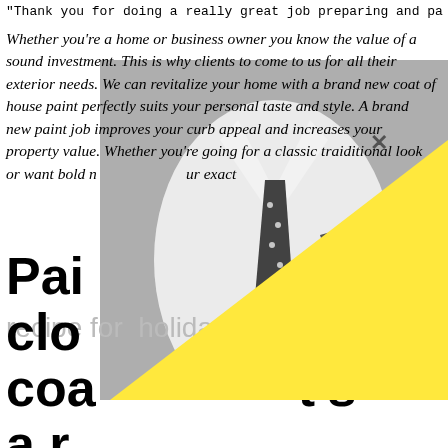"Thank you for doing a really great job preparing and pa
Whether you're a home or business owner you know the value of a sound investment. This is why clients to come to us for all their exterior needs. We can revitalize your home with a brand new coat of house paint perfectly suits your personal taste and style. A brand new paint job improves your curb appeal and increases your property value. Whether you're going for a classic traiditional look or want bold n... our exact...
[Figure (photo): Black and white photo of a man in a white suit with polka dot tie and pocket square, overlaid with a yellow triangle graphic element]
Pai clo op coa t's a r recipe for holidays, or missed spots. Instead, he tints his primer a